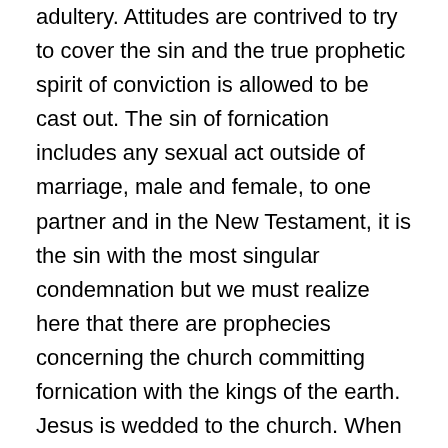adultery. Attitudes are contrived to try to cover the sin and the true prophetic spirit of conviction is allowed to be cast out. The sin of fornication includes any sexual act outside of marriage, male and female, to one partner and in the New Testament, it is the sin with the most singular condemnation but we must realize here that there are prophecies concerning the church committing fornication with the kings of the earth. Jesus is wedded to the church. When Jesus condemns those that have committed adultery with Jezebel, He is referring to the church and worldliness, not necessarily sexual immorality. Jezebel was and is a political figure and uses spiritual control and manipulation to exert influence. Once under this delusionary spirit, she takes them captive, disguises herself as the spirit of God and allows false prophecy, idolatry and worldly practices to flourish.